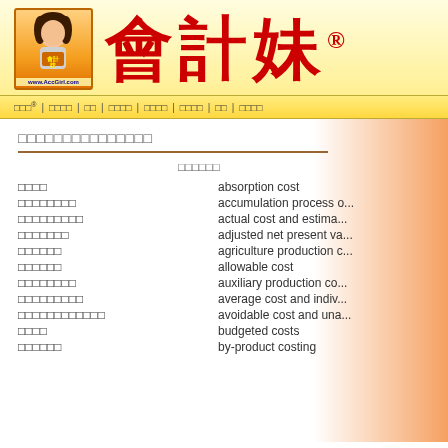[Figure (logo): 會計妹 logo with cartoon character and www.AccGirl.com URL]
會計妹®
會計妹® | 會計新聞 | 論壇 | 會計術語 | 會計公式 | 會計軟件 | 工具 | 聯絡我們
會計術語中英對照表(成本會計)
英文術語
| 中文 | 英文 |
| --- | --- |
| 吸收成本法 | absorption cost |
| 成本累積過程 | accumulation process o... |
| 實際成本和估計成本 | actual cost and estima... |
| 調整後淨現值 | adjusted net present va... |
| 農業生產成本 | agriculture production c... |
| 允許成本 | allowable cost |
| 輔助生產成本 | auxiliary production co... |
| 平均成本及個別成本 | average cost and indiv... |
| 可避免成本和不可避免成本 | avoidable cost and una... |
| 預算成本 | budgeted costs |
| 副產品成本法 | by-product costing |